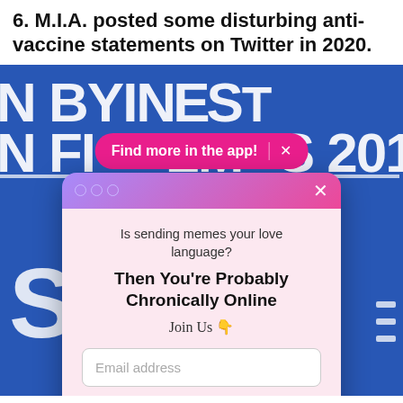6. M.I.A. posted some disturbing anti-vaccine statements on Twitter in 2020.
[Figure (screenshot): Screenshot of a webpage showing a photo of M.I.A. at what appears to be a film festival event (blue background with large white text partially visible showing 'N FI___S 2018'), overlaid with a pink 'Find more in the app! × ' pill button and a modal popup. The modal has a purple-to-pink gradient header with three circle dots and an X close button. The modal body on a pink background reads: 'Is sending memes your love language? Then You're Probably Chronically Online Join Us 👇' followed by an email address input field, a dark navy 'Sign Me Up!' button, and a 'No Thanks' underlined link.]